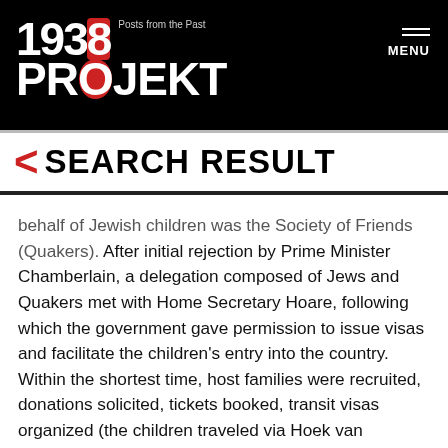1938 PROJEKT Posts from the Past | MENU
< SEARCH RESULT
behalf of Jewish children was the Society of Friends (Quakers). After initial rejection by Prime Minister Chamberlain, a delegation composed of Jews and Quakers met with Home Secretary Hoare, following which the government gave permission to issue visas and facilitate the children's entry into the country. Within the shortest time, host families were recruited, donations solicited, tickets booked, transit visas organized (the children traveled via Hoek van Holland). The network of Jewish and non-Jewish helpers included Dutch volunteers who welcomed the children at the border, gave them food and drink and accompanied them all the way to the ship in